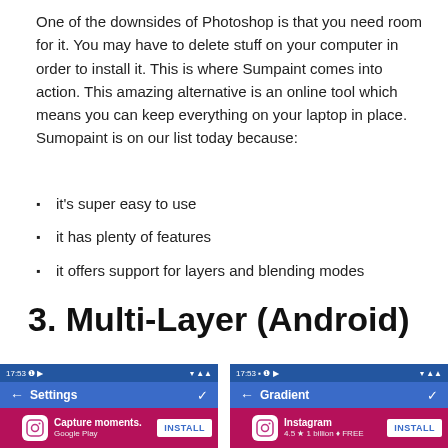One of the downsides of Photoshop is that you need room for it. You may have to delete stuff on your computer in order to install it. This is where Sumpaint comes into action. This amazing alternative is an online tool which means you can keep everything on your laptop in place. Sumopaint is on our list today because:
it's super easy to use
it has plenty of features
it offers support for layers and blending modes
3. Multi-Layer (Android)
[Figure (screenshot): Two Android phone screenshots side by side. Left screenshot shows a 'Settings' screen in a blue app with a Google Play ad for Instagram (Capture moments.) with an INSTALL button. Right screenshot shows a 'Gradient' screen in a blue app with a Google Play ad for Instagram (4.5 stars, 1 billion, FREE) with an INSTALL button. Status bars show 17:53 with signal icons.]